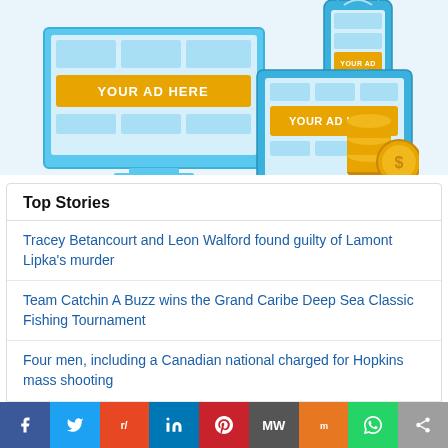[Figure (illustration): Advertising illustration showing a desktop monitor, tablet, and smartphone with 'YOUR AD HERE' banners and gold coins, on a light blue background.]
Top Stories
Tracey Betancourt and Leon Walford found guilty of Lamont Lipka's murder
Team Catchin A Buzz wins the Grand Caribe Deep Sea Classic Fishing Tournament
Four men, including a Canadian national charged for Hopkins mass shooting
Police officers arraigned for Derrick Uh's death released on bail
Federal Bureau of Investigation (FBI) Returns Mayan Artifact to Belize
[Figure (infographic): Social media share bar with buttons: Facebook, Twitter, Reddit, LinkedIn, Pinterest, MW, Mix, WhatsApp, Share]